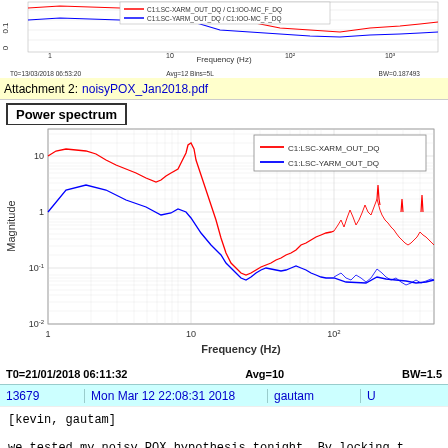[Figure (continuous-plot): Top strip showing a previously rendered power spectrum ratio plot with red and blue traces. Legend shows C1:LSC-XARM_OUT_DQ / C1:IOO-MC_F_DQ (red) and C1:LSC-YARM_OUT_DQ / C1:IOO-MC_F_DQ (blue). X-axis: Frequency (Hz). Metadata: T0=13/03/2018 06:53:20, Avg=12 Bins=5L, BW=0.187493]
Attachment 2: noisyPOX_Jan2018.pdf
Power spectrum
[Figure (continuous-plot): Log-log power spectrum plot. Red trace: C1:LSC-XARM_OUT_DQ, Blue trace: C1:LSC-YARM_OUT_DQ. X-axis: Frequency (Hz), range ~1 to ~500 Hz. Y-axis: Magnitude, range ~10^-2 to ~30. Red trace starts higher (~10 at 1 Hz, peaks ~30 at ~15 Hz), both decay after ~20 Hz, noisy floor at high freq. T0=21/01/2018 06:11:32, Avg=10, BW=1.5]
| 13679 | Mon Mar 12 22:08:31 2018 | gautam | U |
| --- | --- | --- | --- |
[kevin, gautam]

we tested my noisy POX hypothesis tonight. By locking t